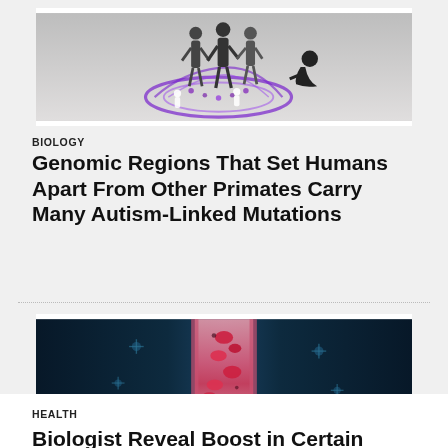[Figure (illustration): Stylized illustration showing silhouettes of human figures (some standing, some seated/crouching) against a grey background with purple DNA helix motif and small scientists/researchers examining something at the base.]
BIOLOGY
Genomic Regions That Set Humans Apart From Other Primates Carry Many Autism-Linked Mutations
[Figure (illustration): Scientific medical illustration of a blood vessel cross-section showing red blood cells and molecules on a dark navy/teal gradient background, with a vertical pink/red channel in the center.]
HEALTH
Biologist Reveal Boost in Certain Amino Acids is an Early Sign of Cancer